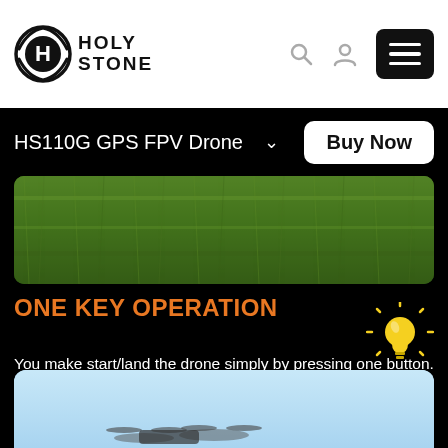[Figure (logo): Holy Stone logo with circular H icon and HOLY STONE text]
HS110G GPS FPV Drone
Buy Now
[Figure (photo): Close-up photo of green grass texture]
ONE KEY OPERATION
You make start/land the drone simply by pressing one button. The latest Altitude Control System enable stable flight. 3-speed switch and headless mode to help users grasp flying skills sooner.
[Figure (illustration): Lightbulb emoji icon with yellow glow rays]
[Figure (photo): Drone flying against light blue sky background]